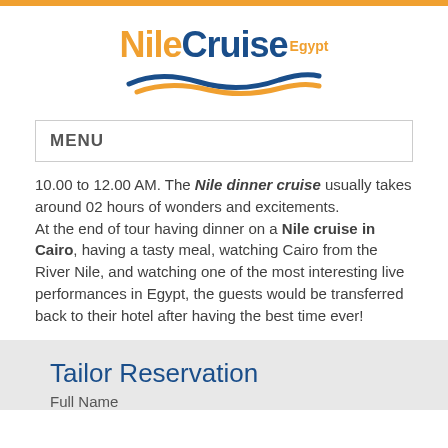[Figure (logo): Nile Cruise Egypt logo with orange 'Nile', blue 'Cruise', orange 'Egypt' text and wave graphic]
MENU
10.00 to 12.00 AM. The Nile dinner cruise usually takes around 02 hours of wonders and excitements. At the end of tour having dinner on a Nile cruise in Cairo, having a tasty meal, watching Cairo from the River Nile, and watching one of the most interesting live performances in Egypt, the guests would be transferred back to their hotel after having the best time ever!
Tailor Reservation
Full Name